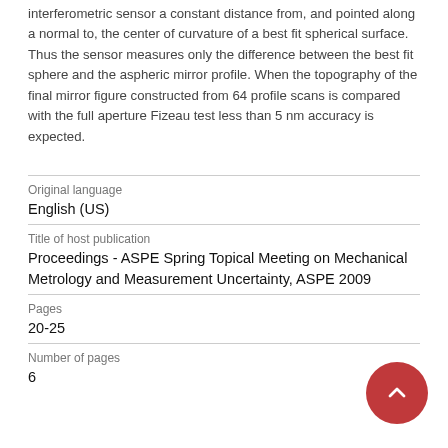interferometric sensor a constant distance from, and pointed along a normal to, the center of curvature of a best fit spherical surface. Thus the sensor measures only the difference between the best fit sphere and the aspheric mirror profile. When the topography of the final mirror figure constructed from 64 profile scans is compared with the full aperture Fizeau test less than 5 nm accuracy is expected.
Original language
English (US)
Title of host publication
Proceedings - ASPE Spring Topical Meeting on Mechanical Metrology and Measurement Uncertainty, ASPE 2009
Pages
20-25
Number of pages
6